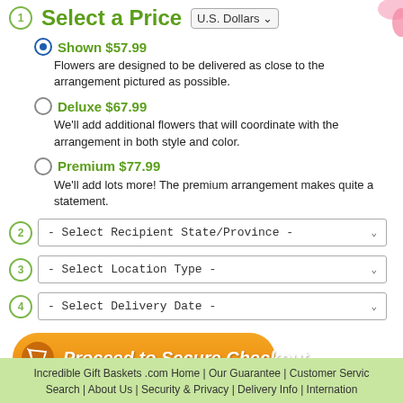1 Select a Price U.S. Dollars
Shown $57.99 - Flowers are designed to be delivered as close to the arrangement pictured as possible.
Deluxe $67.99 - We'll add additional flowers that will coordinate with the arrangement in both style and color.
Premium $77.99 - We'll add lots more! The premium arrangement makes quite a statement.
2 - Select Recipient State/Province -
3 - Select Location Type -
4 - Select Delivery Date -
[Figure (other): Orange rounded button with cart icon: Proceed to Secure Checkout]
Visa, Mastercard, American Express, Disover card
Incredible Gift Baskets .com Home | Our Guarantee | Customer Service | Search | About Us | Security & Privacy | Delivery Info | International